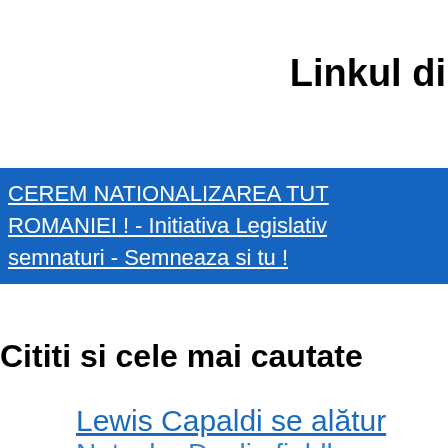Linkul di...
CEREM NATIONALIZAREA TUT... ROMANIEI ! - Initiativa Legislativ... semnaturi - Semneaza si tu !
Cititi si cele mai cautate...
Lewis Capaldi se alătur...
Natasha Doaliafieldh...